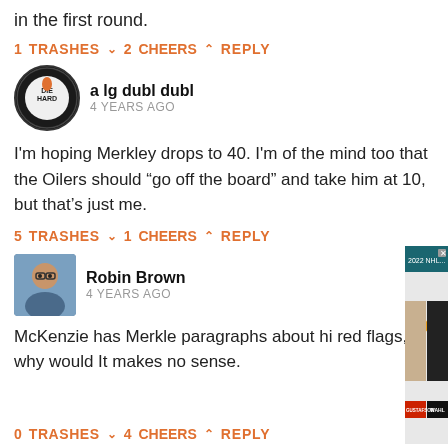in the first round.
1 TRASHES  2 CHEERS  REPLY
[Figure (photo): Edmonton Oilers diehard fan avatar (circular logo)]
a lg dubl dubl
4 YEARS AGO
I'm hoping Merkley drops to 40. I'm of the mind too that the Oilers should “go off the board” and take him at 10, but that’s just me.
5 TRASHES  1 CHEERS  REPLY
[Figure (photo): Robin Brown user avatar photo]
Robin Brown
4 YEARS AGO
McKenzie has Merkle paragraphs about hi red flags, why would It makes no sense.
[Figure (screenshot): Video popup overlay: 2022 NHL Draft 1-on-1 - Jordan Gustafs... with X close button. Shows two people in split screen labeled GUSTAFSON and WAHL with WHL logos.]
0 TRASHES  4 CHEERS  REPLY